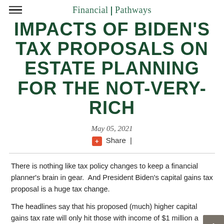Financial | Pathways
IMPACTS OF BIDEN'S TAX PROPOSALS ON ESTATE PLANNING FOR THE NOT-VERY-RICH
May 05, 2021
+ Share |
There is nothing like tax policy changes to keep a financial planner's brain in gear.  And President Biden's capital gains tax proposal is a huge tax change.
The headlines say that his proposed (much) higher capital gains tax rate will only hit those with income of $1 million a year. That probably excludes almost all readers